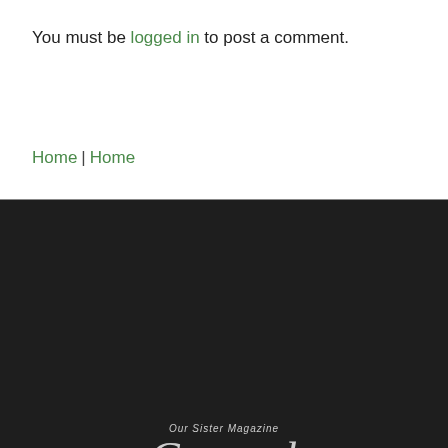You must be logged in to post a comment.
Home | Home
[Figure (logo): Carmel Monthly magazine logo with 'Our Sister Magazine' text above]
HOME   LATEST STORIES   ZIONSVILLE MATTERS   ADVERTISE   BUSINESS DIRECTORY   PRESS RELEASES   CONTACT US
Copyright © 2020 | Collective Publishing, LLC, PO Box 6326, Fishers, IN 46038   Privacy Policy